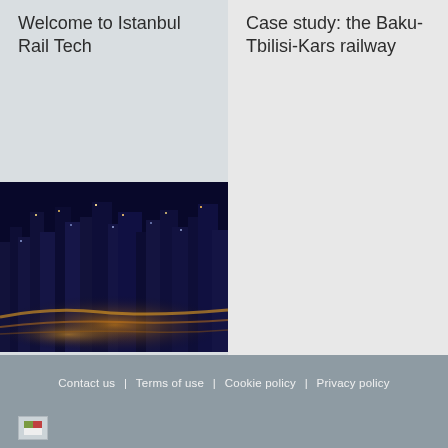Welcome to Istanbul Rail Tech
Case study: the Baku-Tbilisi-Kars railway
[Figure (photo): Aerial night view of Istanbul city with highways and illuminated buildings]
In the city: urbanisation & logistics in Turkey
Contact us | Terms of use | Cookie policy | Privacy policy